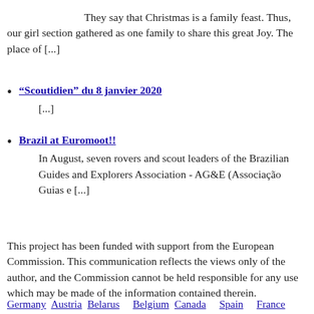They say that Christmas is a family feast. Thus, our girl section gathered as one family to share this great Joy. The place of [...]
“Scoutidien” du 8 janvier 2020
[...]
Brazil at Euromoot!!
In August, seven rovers and scout leaders of the Brazilian Guides and Explorers Association - AG&E (Associação Guias e [...]
This project has been funded with support from the European Commission. This communication reflects the views only of the author, and the Commission cannot be held responsible for any use which may be made of the information contained therein.
Germany  Austria  Belarus    Belgium  Canada    Spain    France